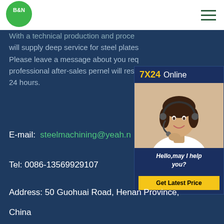[Figure (logo): B&N logo in green circle with white text]
With a technical production and processing team, we will supply deep service for steel plates and pipes. Please leave a message about you requirements, our professional after-sales pernel will respond within 24 hours.
[Figure (infographic): 7X24 Online chat widget with customer service representative photo and 'Hello,may I help you?' message and 'Get Latest Price' button]
E-mail:  steelmachining@yeah.n
Tel: 0086-13569929107
Address: 50 Guohuai Road, Henan Province, China